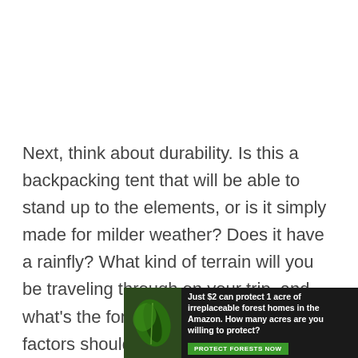Next, think about durability. Is this a backpacking tent that will be able to stand up to the elements, or is it simply made for milder weather? Does it have a rainfly? What kind of terrain will you be traveling through on your trip, and what's the forecast like? All of these factors should go into choosing your backpacking tent!

Last but not least, it's important that you choose a backpacking tent that's easy to set up and takedown. If
[Figure (infographic): Advertisement banner with forest/nature background image on the left and text: 'Just $2 can protect 1 acre of irreplaceable forest homes in the Amazon. How many acres are you willing to protect?' with a green 'PROTECT FORESTS NOW' button.]